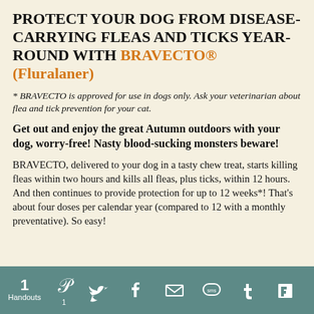PROTECT YOUR DOG FROM DISEASE-CARRYING FLEAS AND TICKS YEAR-ROUND WITH BRAVECTO® (Fluralaner)
* BRAVECTO is approved for use in dogs only. Ask your veterinarian about flea and tick prevention for your cat.
Get out and enjoy the great Autumn outdoors with your dog, worry-free! Nasty blood-sucking monsters beware!
BRAVECTO, delivered to your dog in a tasty chew treat, starts killing fleas within two hours and kills all fleas, plus ticks, within 12 hours. And then continues to provide protection for up to 12 weeks*! That's about four doses per calendar year (compared to 12 with a monthly preventative). So easy!
1 Handouts | Pinterest 1 | Twitter | Facebook | Email | SMS | Tumblr | Flipboard